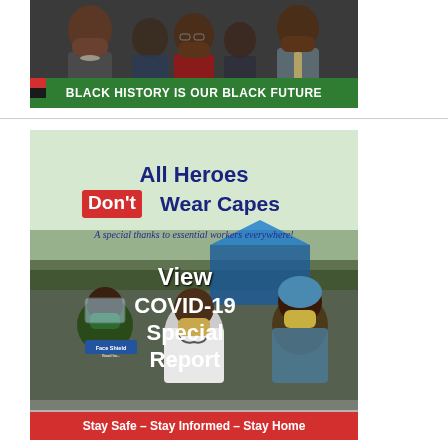[Figure (photo): Group of Black leaders/politicians posed together, with a green banner at the bottom reading 'BLACK HISTORY IS OUR BLACK FUTURE']
[Figure (infographic): COVID-19 Special Report infographic. Header text: 'All Heroes Don't Wear Capes' with 'Don't' in a red box. Subtitle: 'A special thanks to essential workers everywhere!' Center text: 'View COVID-19 Special Report'. Background shows healthcare workers in PPE (masks, face shields, hair nets). Bottom red banner: 'Stay Safe - Stay Informed - Stay Home']